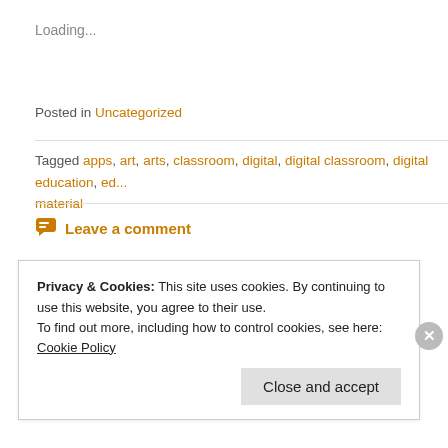Loading...
Posted in Uncategorized
Tagged apps, art, arts, classroom, digital, digital classroom, digital education, ed... material
Leave a comment
Privacy & Cookies: This site uses cookies. By continuing to use this website, you agree to their use.
To find out more, including how to control cookies, see here: Cookie Policy
Close and accept